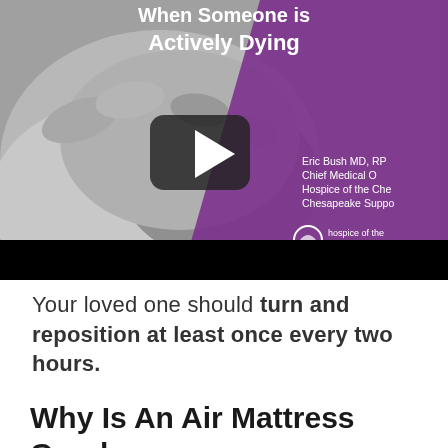[Figure (screenshot): Video thumbnail showing two hands clasped together in black and white, with a purple diagonal overlay. Text reads 'When Someone is Actively Dying'. A play button is visible in the center. Text on purple area: 'Eric Bush MD, RP / Chief Medical O[fficer] / Hospice of the Che[sapeake] / Chesapeake Suppo[rt]' and Hospice of the Chesapeake logo.]
Your loved one should turn and reposition at least once every two hours.
Why Is An Air Mattress Good